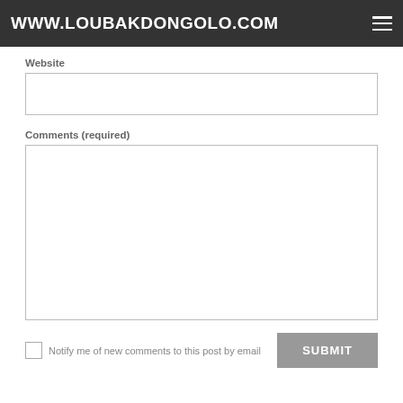WWW.LOUBAKDONGOLO.COM
Website
[Figure (other): Website text input field (empty)]
Comments (required)
[Figure (other): Comments textarea (empty)]
Notify me of new comments to this post by email
SUBMIT